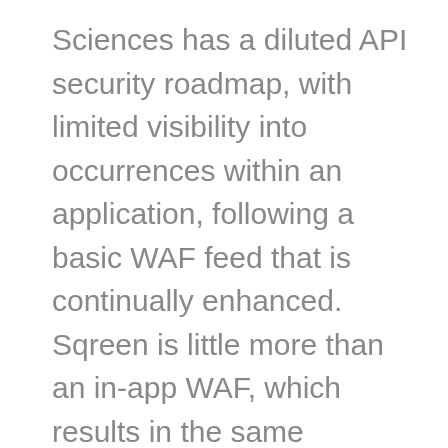Sciences has a diluted API security roadmap, with limited visibility into occurrences within an application, following a basic WAF feed that is continually enhanced. Sqreen is little more than an in-app WAF, which results in the same concerns the company was trying to resolve. “When it came to understanding what triggered the bad requests, the behavior of the underlying API, or anything that would give us more detail, they were just lacking richness,” the Senior Manager said.